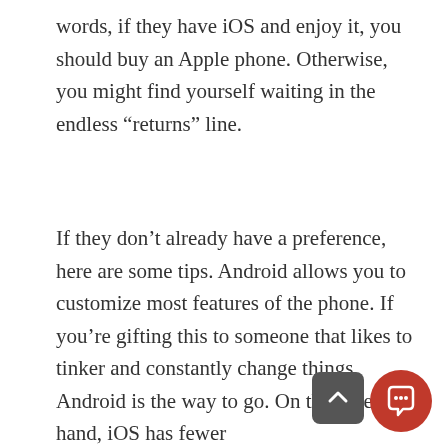words, if they have iOS and enjoy it, you should buy an Apple phone. Otherwise, you might find yourself waiting in the endless “returns” line.
If they don’t already have a preference, here are some tips. Android allows you to customize most features of the phone. If you’re gifting this to someone that likes to tinker and constantly change things, Android is the way to go. On the other hand, iOS has fewer customiz options and can find iOS a little b
[Figure (screenshot): Chat popup widget with close button, avatar photo of a woman, and text 'Hi there, have a question? Text us here.']
Screen Size
Screen size is often the second most important when choosing a smartphone. Most manufacturers offer